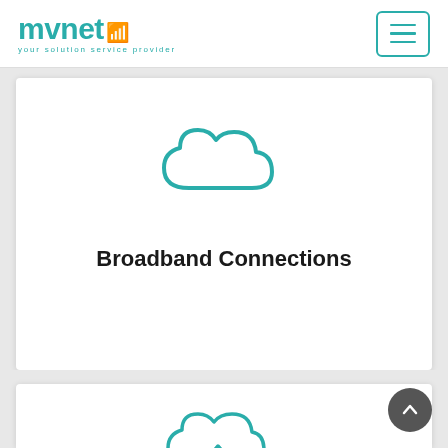mvnet - your solution service provider
[Figure (illustration): Cloud icon outline in teal/blue color, representing broadband connections]
Broadband Connections
[Figure (illustration): Cloud with upload arrow icon outline in teal/blue color, partially visible at bottom of page]